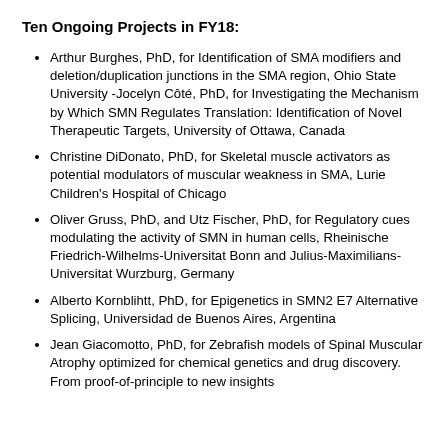Ten Ongoing Projects in FY18:
Arthur Burghes, PhD, for Identification of SMA modifiers and deletion/duplication junctions in the SMA region, Ohio State University -Jocelyn Côté, PhD, for Investigating the Mechanism by Which SMN Regulates Translation: Identification of Novel Therapeutic Targets, University of Ottawa, Canada
Christine DiDonato, PhD, for Skeletal muscle activators as potential modulators of muscular weakness in SMA, Lurie Children's Hospital of Chicago
Oliver Gruss, PhD, and Utz Fischer, PhD, for Regulatory cues modulating the activity of SMN in human cells, Rheinische Friedrich-Wilhelms-Universitat Bonn and Julius-Maximilians-Universitat Wurzburg, Germany
Alberto Kornblihtt, PhD, for Epigenetics in SMN2 E7 Alternative Splicing, Universidad de Buenos Aires, Argentina
Jean Giacomotto, PhD, for Zebrafish models of Spinal Muscular Atrophy optimized for chemical genetics and drug discovery. From proof-of-principle to new insights